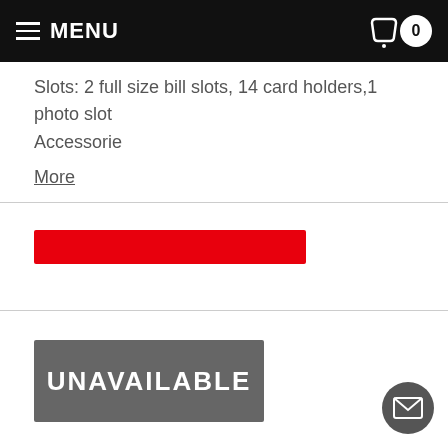MENU  0
Slots: 2 full size bill slots, 14 card holders,1 photo slot
Accessorie
More
[Figure (other): Red horizontal bar element]
UNAVAILABLE